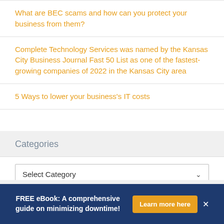What are BEC scams and how can you protect your business from them?
Complete Technology Services was named by the Kansas City Business Journal Fast 50 List as one of the fastest-growing companies of 2022 in the Kansas City area
5 Ways to lower your business's IT costs
Categories
Select Category
Archives
FREE eBook: A comprehensive guide on minimizing downtime! Learn more here